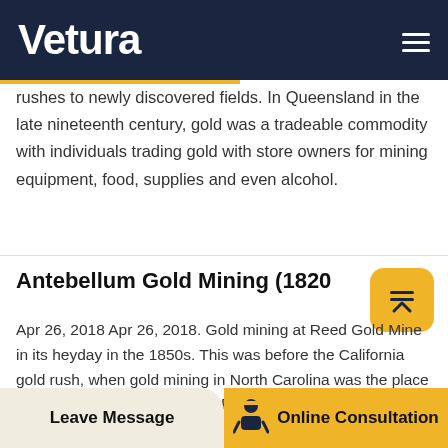Vetura
rushes to newly discovered fields. In Queensland in the late nineteenth century, gold was a tradeable commodity with individuals trading gold with store owners for mining equipment, food, supplies and even alcohol.
Antebellum Gold Mining (1820
Apr 26, 2018 Apr 26, 2018. Gold mining at Reed Gold Mine in its heyday in the 1850s. This was before the California gold rush, when gold mining in North Carolina was the place to be. In 1799, young Conrad Reed discovered a 17-pound gold nugget while fishing in Little Meadow Creek, giving rise to America’s first gold rush.Gold Mining Licence. Object Collection Description Licence for gold mining, framed, paper wood glass, issued to J
Leave Message   Online Consultation